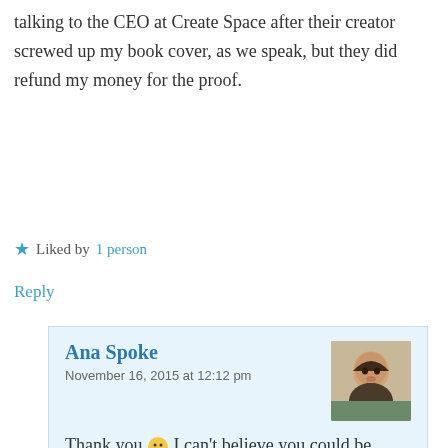talking to the CEO at Create Space after their creator screwed up my book cover, as we speak, but they did refund my money for the proof.
★ Liked by 1 person
Reply
Ana Spoke
November 16, 2015 at 12:12 pm
[Figure (photo): Profile photo of Ana Spoke, a woman with dark hair]
Thank you 🙂 I can't believe you could be asked to pay for a "cat in a bag". Glad you are getting your money refunded, but you also have delays and lost opportunities…I'm just lucky to have some Photoshop skills, feel bad for people who have no choice.